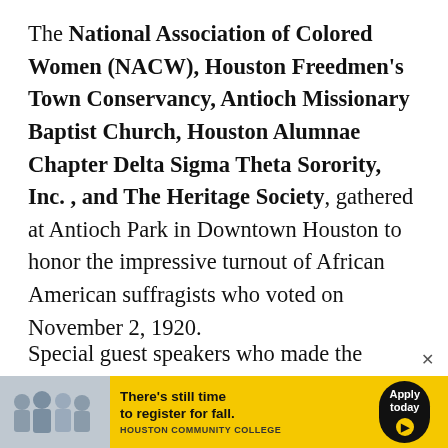The National Association of Colored Women (NACW), Houston Freedmen's Town Conservancy, Antioch Missionary Baptist Church, Houston Alumnae Chapter Delta Sigma Theta Sorority, Inc. , and The Heritage Society, gathered at Antioch Park in Downtown Houston to honor the impressive turnout of African American suffragists who voted on November 2, 1920.
Special guest speakers who made the exciting historical revelations included Congresswoman
[Figure (infographic): Advertisement banner for Houston Community College. Shows group photo of students on left, yellow background with text 'There's still time to register for fall.' and black 'Apply today' button with arrow icon. HOUSTON COMMUNITY COLLEGE in small caps.]